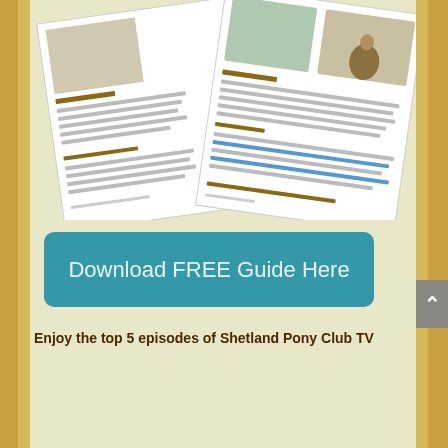[Figure (other): A rotated newsletter/guide document with photos of children riding Shetland ponies, partially visible text about Pony Mornings and Shetland ponies, with an image of a child on a horse.]
Download FREE Guide Here
Enjoy the top 5 episodes of Shetland Pony Club TV